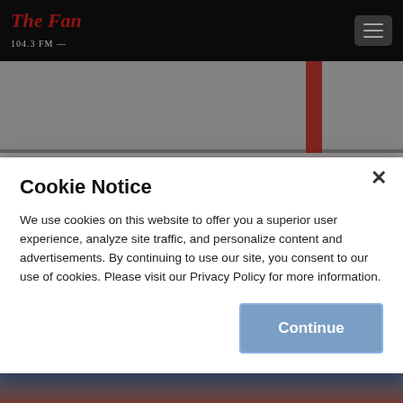The Fan 104.3 FM
[Figure (photo): Interior of Denver Broncos training facility with BRONCOS lettering visible on the wall and a red structural column]
Cookie Notice
We use cookies on this website to offer you a superior user experience, analyze site traffic, and personalize content and advertisements. By continuing to use our site, you consent to our use of cookies. Please visit our Privacy Policy for more information.
[Figure (photo): Denver Broncos quarterback throwing a football, partially visible at bottom of page]